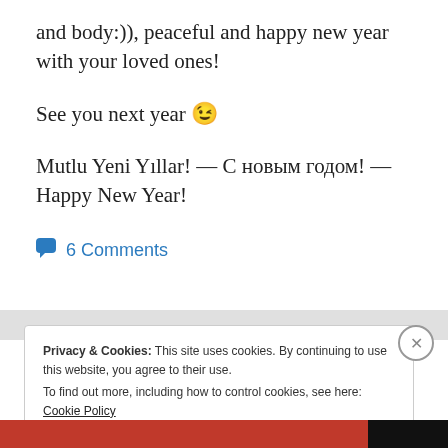and body:)), peaceful and happy new year with your loved ones!
See you next year 😉
Mutlu Yeni Yıllar! — С новым годом! — Happy New Year!
💬 6 Comments
Privacy & Cookies: This site uses cookies. By continuing to use this website, you agree to their use.
To find out more, including how to control cookies, see here: Cookie Policy
Close and accept